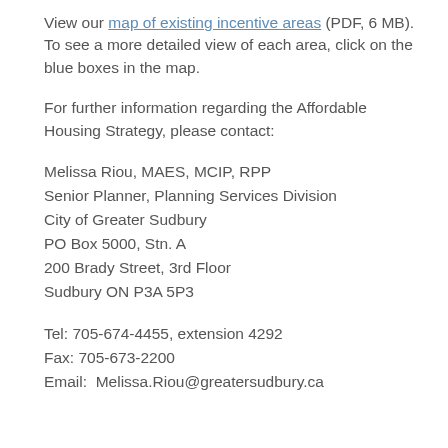View our map of existing incentive areas (PDF, 6 MB). To see a more detailed view of each area, click on the blue boxes in the map.
For further information regarding the Affordable Housing Strategy, please contact:
Melissa Riou, MAES, MCIP, RPP
Senior Planner, Planning Services Division
City of Greater Sudbury
PO Box 5000, Stn. A
200 Brady Street, 3rd Floor
Sudbury ON P3A 5P3
Tel: 705-674-4455, extension 4292
Fax: 705-673-2200
Email:  Melissa.Riou@greatersudbury.ca